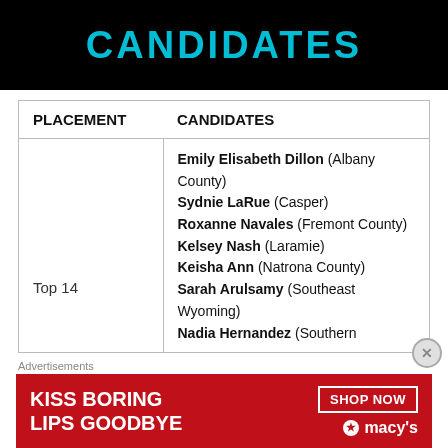CANDIDATES
| PLACEMENT | CANDIDATES |
| --- | --- |
| Top 14 | Emily Elisabeth Dillon (Albany County)
Sydnie LaRue (Casper)
Roxanne Navales (Fremont County)
Kelsey Nash (Laramie)
Keisha Ann (Natrona County)
Sarah Arulsamy (Southeast Wyoming)
Nadia Hernandez (Southern... |
Advertisements
[Figure (photo): Advertisement banner: KISS BORING LIPS GOODBYE — SHOP NOW — macy's, featuring a woman with red lipstick]